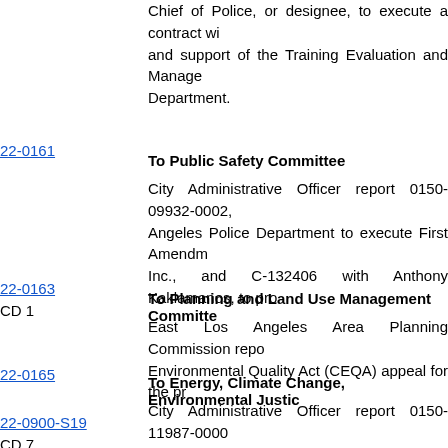Chief of Police, or designee, to execute a contract with and support of the Training Evaluation and Manage Department.
22-0161
To Public Safety Committee
City Administrative Officer report 0150-09932-0002, Angeles Police Department to execute First Amendm Inc., and C-132406 with Anthony Kaklamanos, to pro
22-0163
CD 1
To Planning and Land Use Management Committee
East Los Angeles Area Planning Commission repo Environmental Quality Act (CEQA) appeal for the pr
22-0165
To Energy, Climate Change, Environmental Justice
City Administrative Officer report 0150-11987-0000 Bureau of Street Services to execute a Supplemental A Inc., for routine and 24-hour emergency hazardous wa
22-0900-S19
CD 7